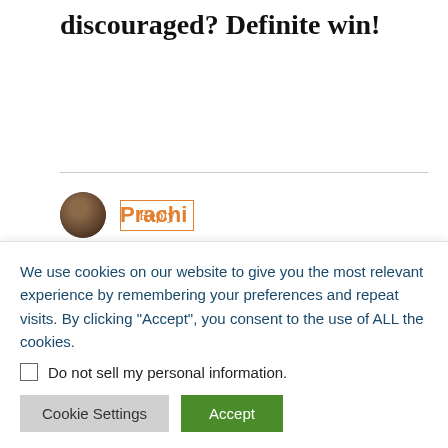discouraged? Definite win!
Reply
Prachi
May 1, 2019 at 12:43 pm
It's Game of Thrones season and I'm a
We use cookies on our website to give you the most relevant experience by remembering your preferences and repeat visits. By clicking “Accept”, you consent to the use of ALL the cookies.
Do not sell my personal information.
Cookie Settings
Accept